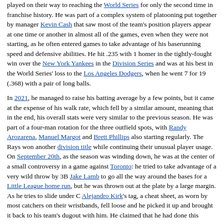played on their way to reaching the World Series for only the second time in franchise history. He was part of a complex system of platooning put together by manager Kevin Cash that saw most of the team's position players appear at one time or another in almost all of the games, even when they were not starting, as he often entered games to take advantage of his baserunning speed and defensive abilities. He hit .235 with 1 homer in the tightly-fought win over the New York Yankees in the Division Series and was at his best in the World Series' loss to the Los Angeles Dodgers, when he went 7 for 19 (.368) with a pair of long balls.
In 2021, he managed to raise his batting average by a few points, but it came at the expense of his walk rate, which fell by a similar amount, meaning that in the end, his overall stats were very similar to the previous season. He was part of a four-man rotation for the three outfield spots, with Randy Arozarena, Manuel Margot and Brett Phillips also starting regularly. The Rays won another division title while continuing their unusual player usage. On September 20th, as the season was winding down, he was at the center of a small controversy in a game against Toronto: he tried to take advantage of a very wild throw by 3B Jake Lamb to go all the way around the bases for a Little League home run, but he was thrown out at the plate by a large margin. As he tries to slide under C Alejandro Kirk's tag, a cheat sheet, as worn by most catchers on their wristbands, fell loose and he picked it up and brought it back to his team's dugout with him. He claimed that he had done this